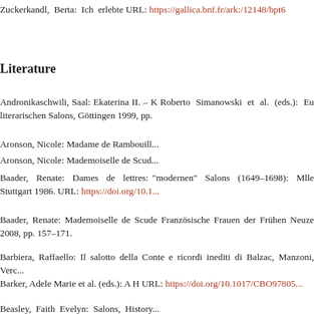Zuckerkandl, Berta: Ich erlebte URL: https://gallica.bnf.fr/ark:/12148/bpt6...
Literature
Andronikaschwili, Saal: Ekaterina II. – K Roberto Simanowski et al. (eds.): Eu literarischen Salons, Göttingen 1999, pp.
Aronson, Nicole: Madame de Rambouille...
Aronson, Nicole: Mademoiselle de Scud...
Baader, Renate: Dames de lettres: "modernen" Salons (1649–1698): Mlle Stuttgart 1986. URL: https://doi.org/10.1...
Baader, Renate: Mademoiselle de Scude Französische Frauen der Frühen Neuze 2008, pp. 157–171.
Barbiera, Raffaello: Il salotto della Conte e ricordi inediti di Balzac, Manzoni, Verc...
Barker, Adele Marie et al. (eds.): A H URL: https://doi.org/10.1017/CBO97805...
Beasley, Faith Evelyn: Salons, History...